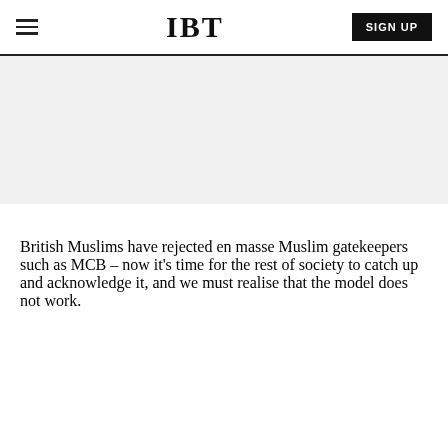IBT
[Figure (other): Gray advertisement placeholder area]
British Muslims have rejected en masse Muslim gatekeepers such as MCB – now it's time for the rest of society to catch up and acknowledge it, and we must realise that the model does not work.